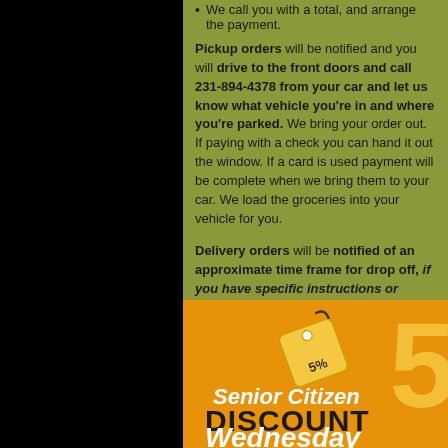We call you with a total, and arrange the payment.
Pickup orders will be notified and you will drive to the front doors and call 231-894-4378 from your car and let us know what vehicle you're in and where you're parked. We bring your order out. If paying with a check you can hand it out the window. If a card is used payment will be complete when we bring them to your car. We load the groceries into your vehicle for you.
Delivery orders will be notified of an approximate time frame for drop off, if you have specific instructions or helpful information to find your home please include that information in the original email. We do apply a delivery charge, it will be based on your location, and the amount of groceries to be delivered.
[Figure (infographic): Senior Citizen DISCOUNT Wednesday promotional banner on orange background with a 5% price tag graphic and large yellow number 5]